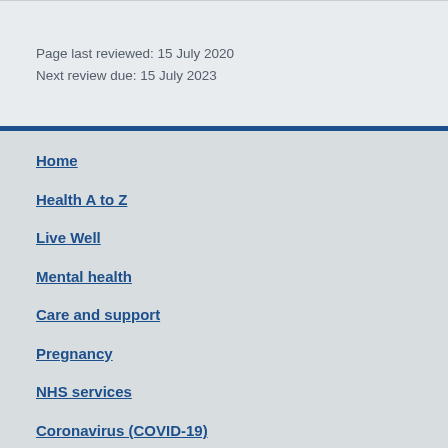Page last reviewed: 15 July 2020
Next review due: 15 July 2023
Home
Health A to Z
Live Well
Mental health
Care and support
Pregnancy
NHS services
Coronavirus (COVID-19)